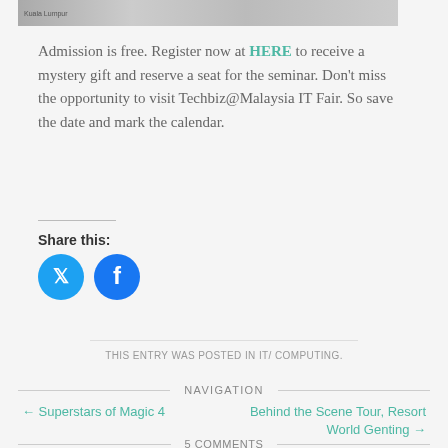[Figure (photo): Image strip showing Kuala Lumpur photos at the top of the page]
Admission is free. Register now at HERE to receive a mystery gift and reserve a seat for the seminar. Don't miss the opportunity to visit Techbiz@Malaysia IT Fair. So save the date and mark the calendar.
Share this:
[Figure (other): Twitter and Facebook social share icon buttons (circles)]
THIS ENTRY WAS POSTED IN IT/ COMPUTING.
NAVIGATION
← Superstars of Magic 4
Behind the Scene Tour, Resort World Genting →
5 COMMENTS